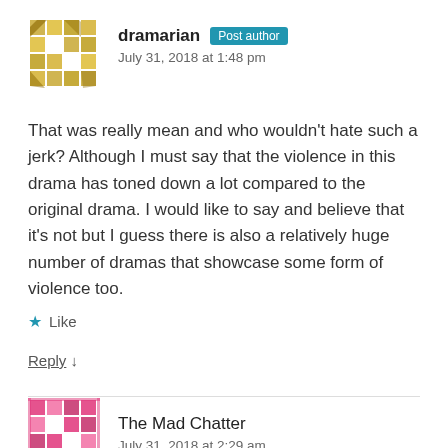[Figure (illustration): Gold/yellow mosaic avatar for user dramarian]
dramarian Post author
July 31, 2018 at 1:48 pm
That was really mean and who wouldn't hate such a jerk? Although I must say that the violence in this drama has toned down a lot compared to the original drama. I would like to say and believe that it's not but I guess there is also a relatively huge number of dramas that showcase some form of violence too.
★ Like
Reply ↓
[Figure (illustration): Pink/magenta mosaic avatar for user The Mad Chatter]
The Mad Chatter
July 31, 2018 at 2:29 am